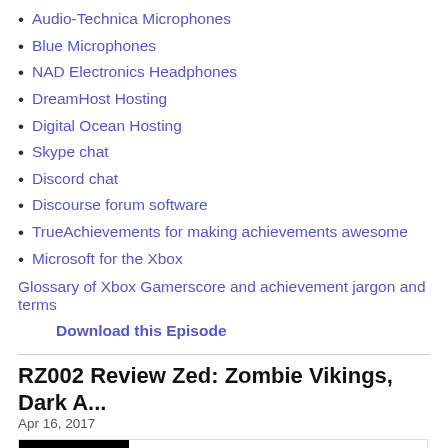Audio-Technica Microphones
Blue Microphones
NAD Electronics Headphones
DreamHost Hosting
Digital Ocean Hosting
Skype chat
Discord chat
Discourse forum software
TrueAchievements for making achievements awesome
Microsoft for the Xbox
Glossary of Xbox Gamerscore and achievement jargon and terms
Download this Episode
RZ002 Review Zed: Zombie Vikings, Dark A...
Apr 16, 2017
[Figure (other): Podcast player widget showing episode RZ002 Review Zed: Zombie Vikin... from THE ZED TO ZED PODCAST: THE SHOW FOR XB, with play button, progress bar, and controls (30-second back, time 00:00:00, 30-second forward, RSS, download, embed, share icons)]